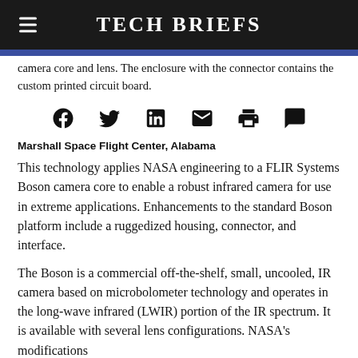Tech Briefs
camera core and lens. The enclosure with the connector contains the custom printed circuit board.
[Figure (infographic): Row of six social media / action icons: Facebook, Twitter, LinkedIn, Email, Print, Comment]
Marshall Space Flight Center, Alabama
This technology applies NASA engineering to a FLIR Systems Boson camera core to enable a robust infrared camera for use in extreme applications. Enhancements to the standard Boson platform include a ruggedized housing, connector, and interface.
The Boson is a commercial off-the-shelf, small, uncooled, IR camera based on microbolometer technology and operates in the long-wave infrared (LWIR) portion of the IR spectrum. It is available with several lens configurations. NASA's modifications